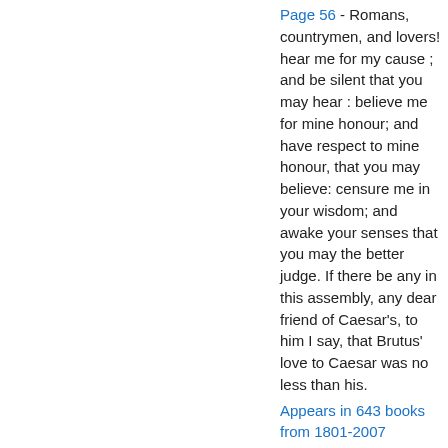Page 56 - Romans, countrymen, and lovers! hear me for my cause ; and be silent that you may hear : believe me for mine honour; and have respect to mine honour, that you may believe: censure me in your wisdom; and awake your senses that you may the better judge. If there be any in this assembly, any dear friend of Caesar's, to him I say, that Brutus' love to Caesar was no less than his.
Appears in 643 books from 1801-2007
Page 9 - To find ourselves dishonourable